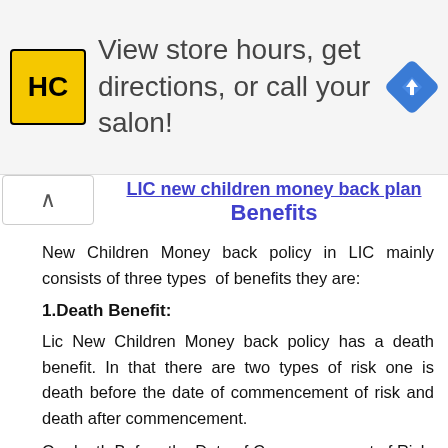[Figure (infographic): Advertisement banner for a salon business (HC logo) with text 'View store hours, get directions, or call your salon!' and a navigation/directions icon]
LIC new children money back plan Benefits
New Children Money back policy in LIC mainly consists of three types of benefits they are:
1.Death Benefit:
Lic New Children Money back policy has a death benefit. In that there are two types of risk one is death before the date of commencement of risk and death after commencement.
On death Before the Date of Commencement of Risk: